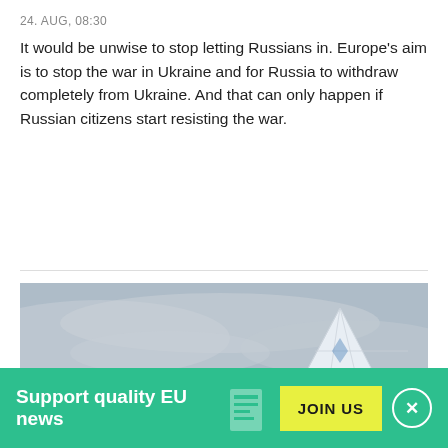24. AUG, 08:30
It would be unwise to stop letting Russians in. Europe's aim is to stop the war in Ukraine and for Russia to withdraw completely from Ukraine. And that can only happen if Russian citizens start resisting the war.
[Figure (photo): City skyline with modern buildings and a large white pyramid-shaped structure under overcast skies, likely Nur-Sultan (Astana), Kazakhstan]
Support quality EU news
JOIN US